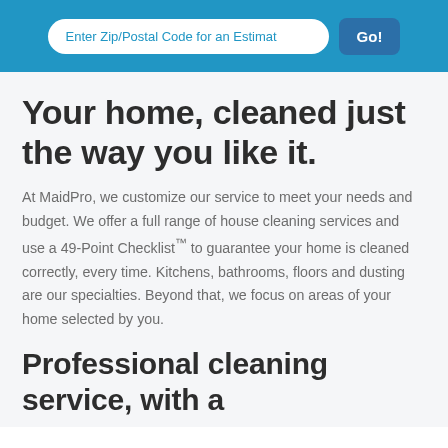Enter Zip/Postal Code for an Estimat   Go!
Your home, cleaned just the way you like it.
At MaidPro, we customize our service to meet your needs and budget. We offer a full range of house cleaning services and use a 49-Point Checklist™ to guarantee your home is cleaned correctly, every time. Kitchens, bathrooms, floors and dusting are our specialties. Beyond that, we focus on areas of your home selected by you.
Professional cleaning service, with a